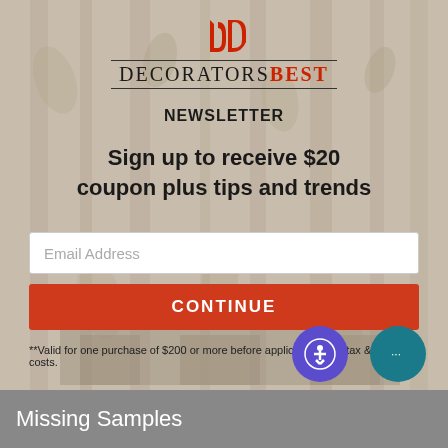[Figure (logo): DecoratorsBest logo with red 'db' monogram above the brand name with decorative double border lines]
NEWSLETTER
Sign up to receive $20 coupon plus tips and trends
Email Address (input field placeholder)
CONTINUE (button)
**Valid for one purchase of $200 or more before applicable sales tax & shipping costs.
Missing Samples